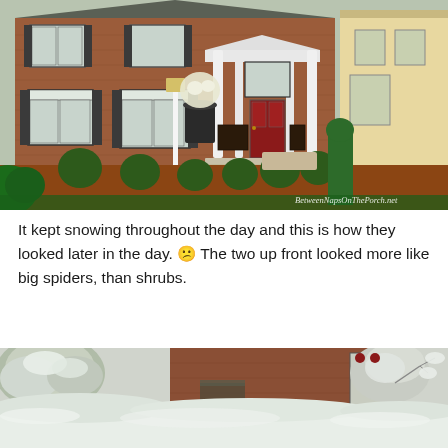[Figure (photo): Exterior view of a brick colonial-style house with black shutters, white columns at the entrance, red front door, boxwood shrubs, and a white lamp post in the front yard. Landscaped with mulch and greenery. Watermark reads BetweenNapsOnThePorch.net]
It kept snowing throughout the day and this is how they looked later in the day. 😕 The two up front looked more like big spiders, than shrubs.
[Figure (photo): Partial view of a snow-covered front yard and porch of a brick house. Trees and shrubs are covered with snow, a snow-covered planter is visible on the right, and the porch has outdoor furniture dusted with snow.]